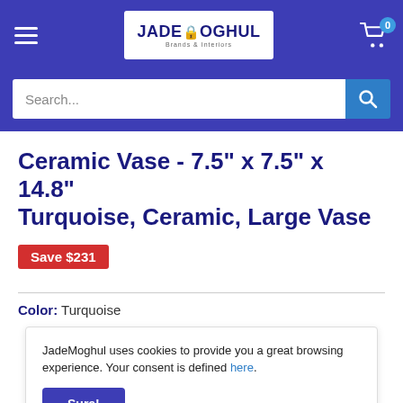[Figure (logo): JadeMoghul logo with shopping cart icon and hamburger menu on blue navigation bar]
[Figure (screenshot): Search bar with blue search button]
Ceramic Vase - 7.5" x 7.5" x 14.8" Turquoise, Ceramic, Large Vase
Save $231
Color: Turquoise
JadeMoghul uses cookies to provide you a great browsing experience. Your consent is defined here.
Sure!